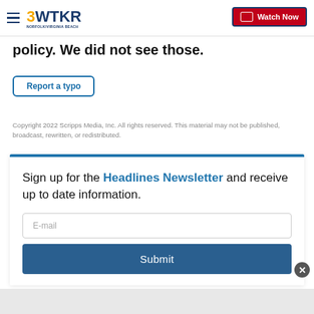3WTKR | Watch Now
policy. We did not see those.
Report a typo
Copyright 2022 Scripps Media, Inc. All rights reserved. This material may not be published, broadcast, rewritten, or redistributed.
Sign up for the Headlines Newsletter and receive up to date information.
E-mail
Submit